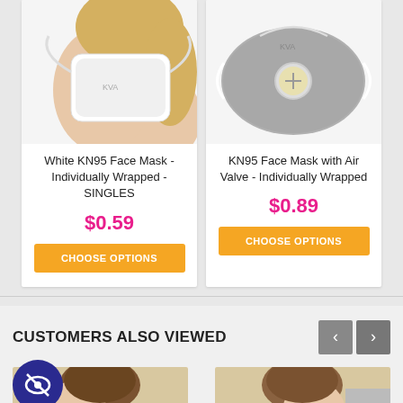[Figure (photo): White KN95 face mask worn by person with blonde hair, white background]
[Figure (photo): Grey KN95 face mask with yellow air valve and elastic straps, white background]
White KN95 Face Mask - Individually Wrapped - SINGLES
$0.59
CHOOSE OPTIONS
KN95 Face Mask with Air Valve - Individually Wrapped
$0.89
CHOOSE OPTIONS
CUSTOMERS ALSO VIEWED
[Figure (photo): Person with brown hair — partially visible product card thumbnail]
[Figure (photo): Second product thumbnail in Customers Also Viewed row]